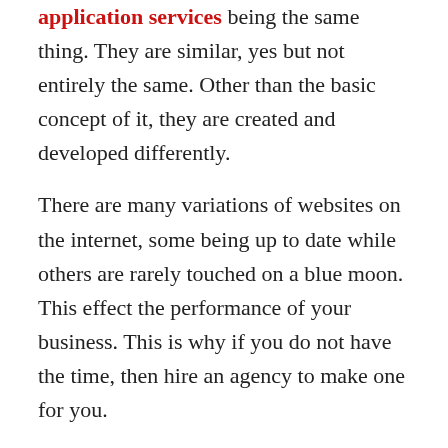application services being the same thing. They are similar, yes but not entirely the same. Other than the basic concept of it, they are created and developed differently.
There are many variations of websites on the internet, some being up to date while others are rarely touched on a blue moon. This effect the performance of your business. This is why if you do not have the time, then hire an agency to make one for you.
In the case of mobile application development services, they are used to target a specific audience. That being your customers. Mobile apps provide